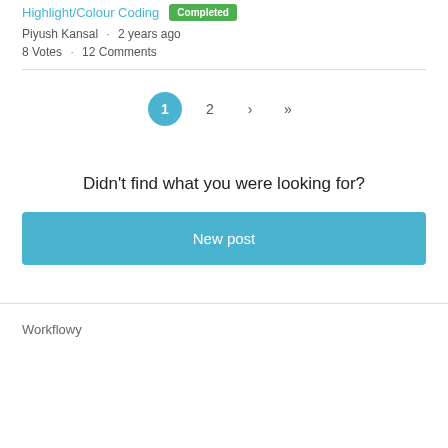Highlight/Colour Coding · Completed
Piyush Kansal · 2 years ago
8 Votes · 12 Comments
1 2 › »
Didn't find what you were looking for?
New post
Workflowy